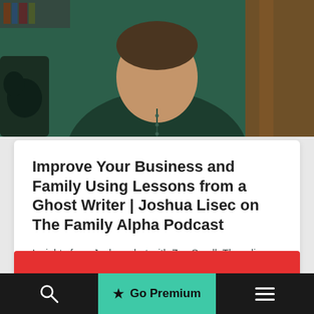[Figure (photo): Person in dark green shirt seated, bookshelves and wood paneling in background]
Improve Your Business and Family Using Lessons from a Ghost Writer | Joshua Lisec on The Family Alpha Podcast
Insights from Joshua chat with Zac Small. They discuss lessons ghost writing, how to persuade your readers, and be...
[Figure (other): Red banner bar at bottom of card area]
Go Premium